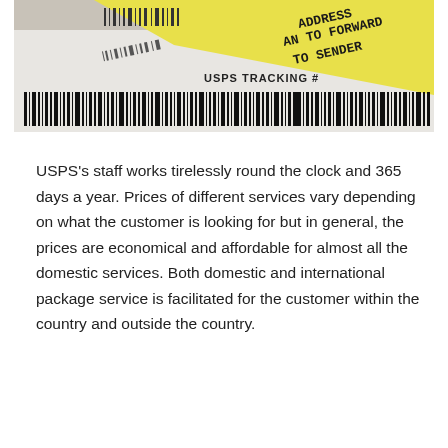[Figure (photo): Photo of USPS mail label and envelope showing a yellow forwarding label reading 'ADDRESS / AN TO FORWARD / TO SENDER' with barcode patterns, and a white envelope with 'USPS TRACKING #' text and a barcode below it.]
USPS's staff works tirelessly round the clock and 365 days a year. Prices of different services vary depending on what the customer is looking for but in general, the prices are economical and affordable for almost all the domestic services. Both domestic and international package service is facilitated for the customer within the country and outside the country.